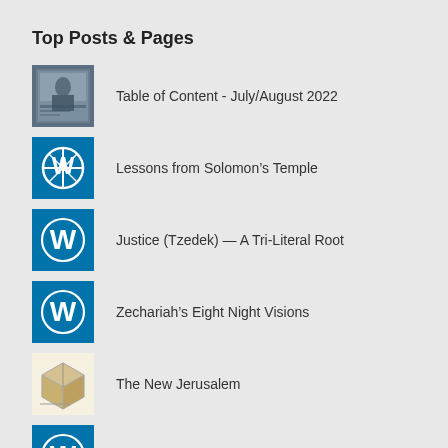Top Posts & Pages
Table of Content - July/August 2022
Lessons from Solomon’s Temple
Justice (Tzedek) — A Tri-Literal Root
Zechariah’s Eight Night Visions
The New Jerusalem
The Punishment of Edom
Herald Magazine Index Sorted by Theme, Article Title and Author